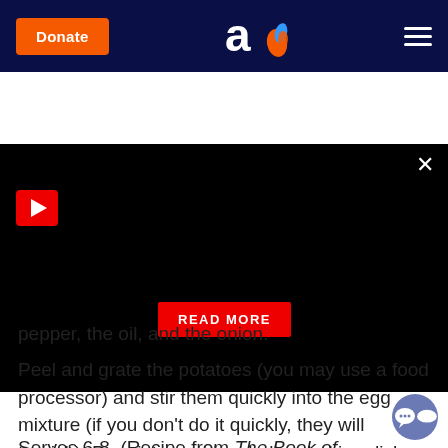Donate [Aish logo] [menu]
[Figure (screenshot): Black video player area with a red play button in the top left, a close (×) button top right, and a red READ MORE button in the lower center]
pepper, the oil, and the onion.
Peel and grate the potatoes (you may use a food processor) and stir them quickly into the egg mixture (if you don't do it quickly, they will tarnish). Pour into a wide, shallow baking dish brushed with oil. Bake at 350 degrees F (180 degrees C) for about 1 hour. Then turn the heat to 450 degrees F (230 degrees C) for 5-10 minutes, or until browned. Serve hot.
Serves 6-8. (Recipe from The Book of Jewish Food by